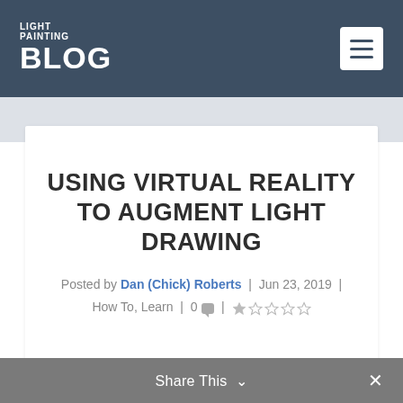LIGHT PAINTING BLOG
USING VIRTUAL REALITY TO AUGMENT LIGHT DRAWING
Posted by Dan (Chick) Roberts | Jun 23, 2019 | How To, Learn | 0 💬 |  ★☆☆☆☆
Share This ∨  ×